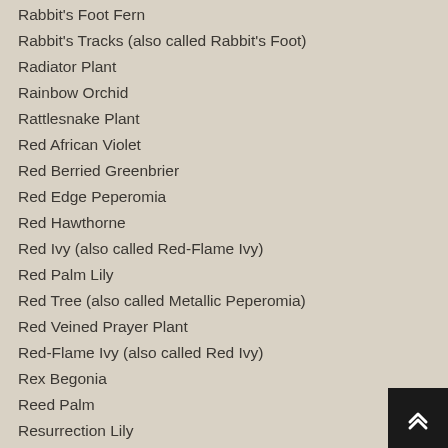Rabbit's Foot Fern
Rabbit's Tracks (also called Rabbit's Foot)
Radiator Plant
Rainbow Orchid
Rattlesnake Plant
Red African Violet
Red Berried Greenbrier
Red Edge Peperomia
Red Hawthorne
Red Ivy (also called Red-Flame Ivy)
Red Palm Lily
Red Tree (also called Metallic Peperomia)
Red Veined Prayer Plant
Red-Flame Ivy (also called Red Ivy)
Rex Begonia
Reed Palm
Resurrection Lily
Rhynchophorum
Ribbon Plant